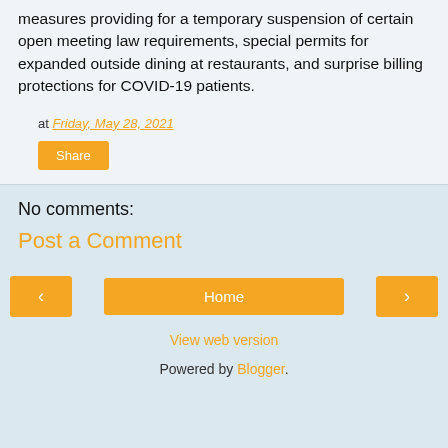measures providing for a temporary suspension of certain open meeting law requirements, special permits for expanded outside dining at restaurants, and surprise billing protections for COVID-19 patients.
at Friday, May 28, 2021
Share
No comments:
Post a Comment
‹
Home
›
View web version
Powered by Blogger.